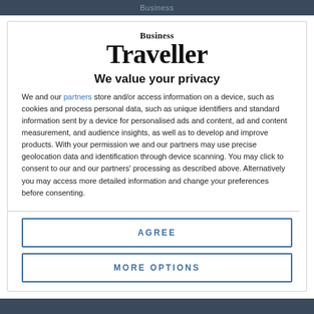Business
[Figure (logo): Business Traveller magazine logo — serif bold wordmark with 'Business' above 'Traveller']
We value your privacy
We and our partners store and/or access information on a device, such as cookies and process personal data, such as unique identifiers and standard information sent by a device for personalised ads and content, ad and content measurement, and audience insights, as well as to develop and improve products. With your permission we and our partners may use precise geolocation data and identification through device scanning. You may click to consent to our and our partners' processing as described above. Alternatively you may access more detailed information and change your preferences before consenting.
AGREE
MORE OPTIONS